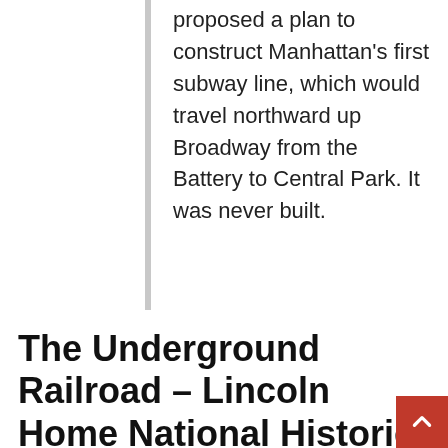proposed a plan to construct Manhattan's first subway line, which would travel northward up Broadway from the Battery to Central Park. It was never built.
The Underground Railroad – Lincoln Home National Historic Site (U.S. National Park Service)
When we talk about the Underground Railroad, we're talking about the attempts of enslaved African Americans to earn their